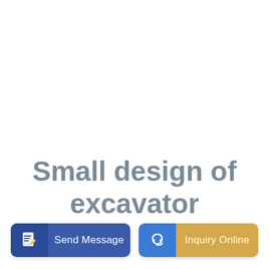Small design of excavator
Send Message
Inquiry Online